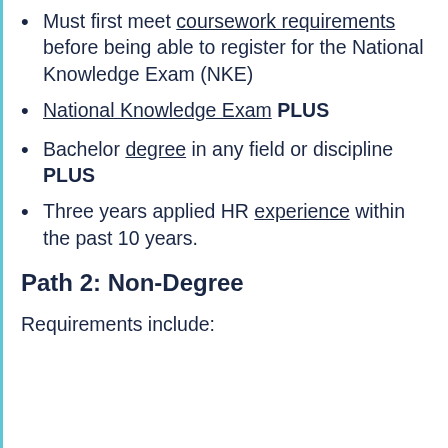Must first meet coursework requirements before being able to register for the National Knowledge Exam (NKE)
National Knowledge Exam PLUS
Bachelor degree in any field or discipline PLUS
Three years applied HR experience within the past 10 years.
Path 2: Non-Degree
Requirements include: